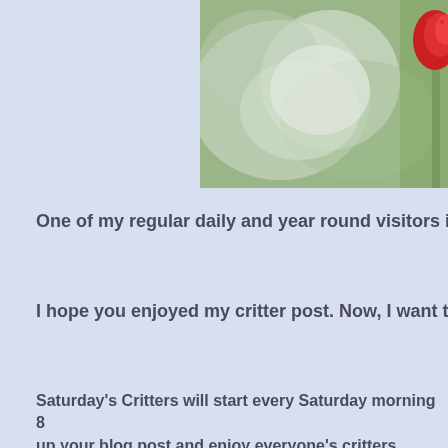[Figure (photo): Close-up photo of a red flower or hummingbird feeder against a blurred green background, partially visible at top right of the page]
One of my regular daily and year round visitors is the h
I hope you enjoyed my critter post. Now, I want to see y
Saturday's Critters will start every Saturday morning 8 up your blog post and enjoy everyone's critters.